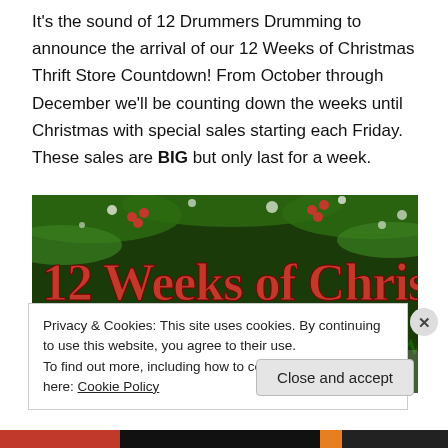It's the sound of 12 Drummers Drumming to announce the arrival of our 12 Weeks of Christmas Thrift Store Countdown! From October through December we'll be counting down the weeks until Christmas with special sales starting each Friday. These sales are BIG but only last for a week.
[Figure (illustration): Decorative banner image with pine branches, holly berries, and snow in the background. Text reads '12 Weeks of Christmas' in large red letters and 'Thrift Store Countdown' in large dark green letters.]
Privacy & Cookies: This site uses cookies. By continuing to use this website, you agree to their use.
To find out more, including how to control cookies, see here: Cookie Policy
Close and accept